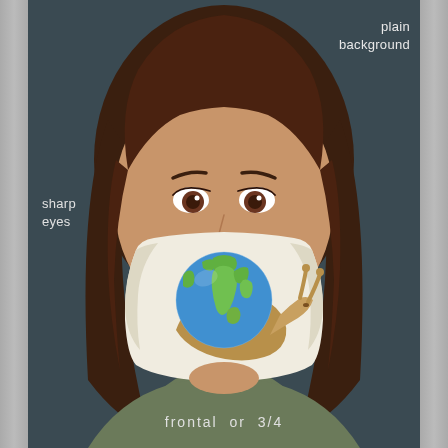[Figure (illustration): Digital illustration of a woman with brown hair and brown eyes, wearing a white face mask. The mask features a snail carrying the Earth (globe) on its back. The background is dark teal/grey. The woman wears an olive green top. The image is framed with grey vertical border strips on left and right sides.]
plain background
sharp eyes
frontal or 3/4